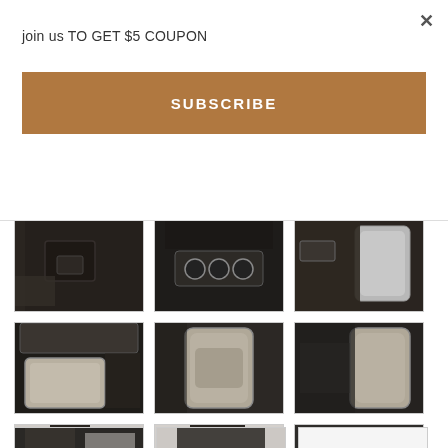join us TO GET $5 COUPON
×
SUBSCRIBE
[Figure (photo): Grid of 9+ close-up detail photos of a dark tactical/sci-fi costume showing armor pieces, buckles, pouches, knee guards, leg details, and back zipper]
[Figure (photo): Partial row of costume detail photos at bottom]
[Figure (photo): Partial row of costume detail photos at bottom]